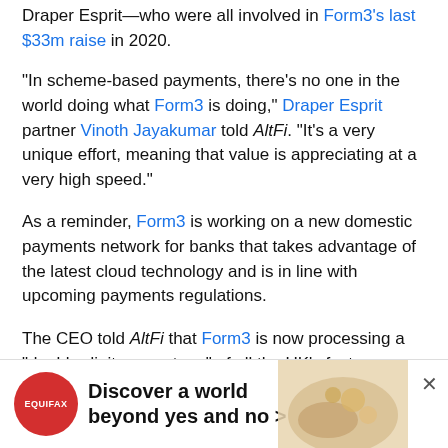Draper Esprit—who were all involved in Form3's last $33m raise in 2020.
"In scheme-based payments, there's no one in the world doing what Form3 is doing," Draper Esprit partner Vinoth Jayakumar told AltFi. "It's a very unique effort, meaning that value is appreciating at a very high speed."
As a reminder, Form3 is working on a new domestic payments network for banks that takes advantage of the latest cloud technology and is in line with upcoming payments regulations.
The CEO told AltFi that Form3 is now processing a "double-digit percentage" of all the UK's faster payments every day on its platform without issue.
“The trend that we spotted some years ago, that banks will migrate… is happening.
[Figure (screenshot): Equifax advertisement banner: red circular logo with 'EQUIFAX' text, headline 'Discover a world beyond yes and no >' on white background with decorative image of hands holding coins/objects on the right side. Close button (×) in top right.]